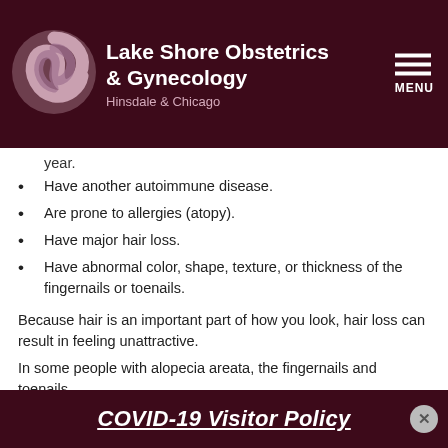[Figure (logo): Lake Shore Obstetrics & Gynecology logo with swirl emblem and navigation menu icon on dark maroon header]
year.
Have another autoimmune disease.
Are prone to allergies (atopy).
Have major hair loss.
Have abnormal color, shape, texture, or thickness of the fingernails or toenails.
Because hair is an important part of how you look, hair loss can result in feeling unattractive.
In some people with alopecia areata, the fingernails and toenails
COVID-19 Visitor Policy